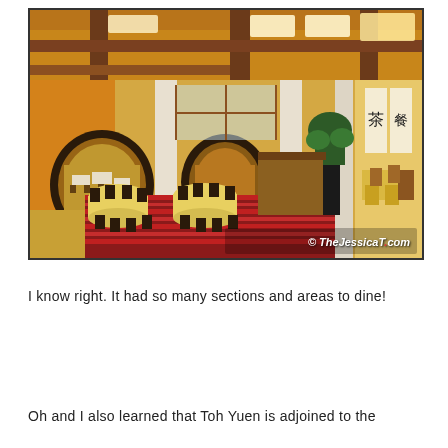[Figure (photo): Interior of Toh Yuen restaurant showing dining area with round moon gate archways, yellow walls, dark wood ceiling beams, round dining tables with yellow tablecloths, striped red carpet, marble columns, and Chinese calligraphy banners on the right wall. Watermark reads '© TheJessicaT dot com'.]
I know right. It had so many sections and areas to dine!
Oh and I also learned that Toh Yuen is adjoined to the